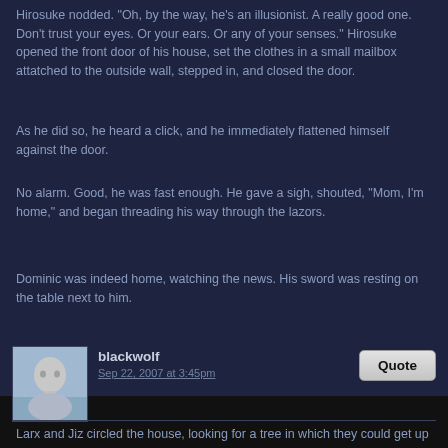Hirosuke nodded. "Oh, by the way, he's an illusionist. A really good one. Don't trust your eyes. Or your ears. Or any of your senses." Hirosuke opened the front door of his house, set the clothes in a small mailbox attatched to the outside wall, stepped in, and closed the door.
As he did so, he heard a click, and he immediately flattened himself against the door.
No alarm. Good, he was fast enough. He gave a sigh, shouted, "Mom, I'm home," and began threading his way through the lazors.
Dominic was indeed home, watching the news. His sword was resting on the table next to him.
blackwolf
Sep 22, 2007 at 3:45pm
Larx and Jiz circled the house, looking for a tree in which they could get up to the second floor. They found one, but if Dominic turned away from the news, he would see them if they weren't careful. Jiz went up first, as quickly and quietly as he could, and began to cut a hole in the window. Larx started up as this was going on, forgetting to watch Dominic.